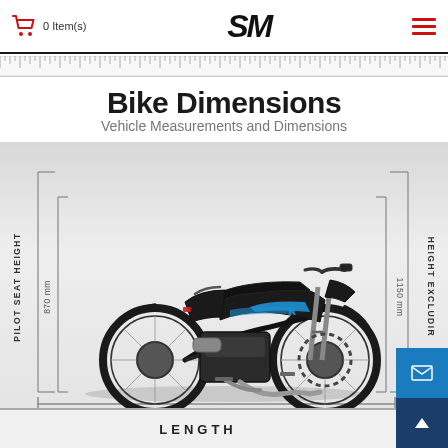0 Item(s)  SM
Bike Dimensions
Vehicle Measurements and Dimensions
[Figure (engineering-diagram): Motorcycle side-view diagram with dimension annotations: PILOT SEAT HEIGHT 870 mm on left, HEIGHT EXCLUDING (truncated) 1150 mm on right, LENGTH label at bottom]
LENGTH